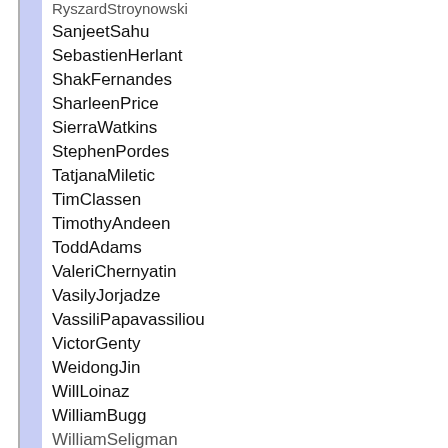RyszardStroynowski
SanjeetSahu
SebastienHerlant
ShakFernandes
SharleenPrice
SierraWatkins
StephenPordes
TatjanaMiletic
TimClassen
TimothyAndeen
ToddAdams
ValeriChernyatin
VasilyJorjadze
VassiliPapavassiliou
VictorGenty
WeidongJin
WillLoinaz
WilliamBugg
WilliamSeligman